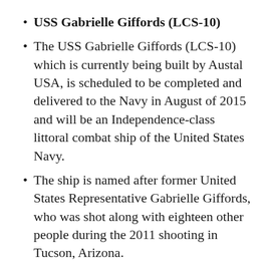USS Gabrielle Giffords (LCS-10)
The USS Gabrielle Giffords (LCS-10) which is currently being built by Austal USA, is scheduled to be completed and delivered to the Navy in August of 2015 and will be an Independence-class littoral combat ship of the United States Navy.
The ship is named after former United States Representative Gabrielle Giffords, who was shot along with eighteen other people during the 2011 shooting in Tucson, Arizona.
Gabrielle Giffords will be the 15th U.S. naval ship to be named for a woman by the United States Navy. But the name choice has been a topic with some controversy...